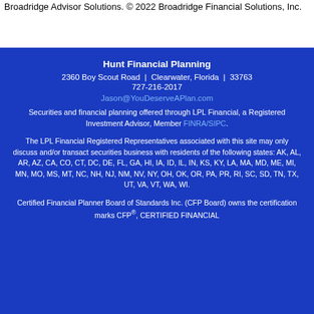Broadridge Advisor Solutions. © 2022 Broadridge Financial Solutions, Inc.
Hunt Financial Planning
2360 Boy Scout Road  |  Clearwater, Florida  |  33763
727-216-2017
Jason@YouDeserveAPlan.com
Securities and financial planning offered through LPL Financial, a Registered Investment Advisor, Member FINRA/SIPC.
The LPL Financial Registered Representatives associated with this site may only discuss and/or transact securities business with residents of the following states: AK, AL, AR, AZ, CA, CO, CT, DC, DE, FL, GA, HI, IA, ID, IL, IN, KS, KY, LA, MA, MD, ME, MI, MN, MO, MS, MT, NC, NH, NJ, NM, NV, NY, OH, OK, OR, PA, PR, RI, SC, SD, TN, TX, UT, VA, VT, WA, WI.
Certified Financial Planner Board of Standards Inc. (CFP Board) owns the certification marks CFP®, CERTIFIED FINANCIAL